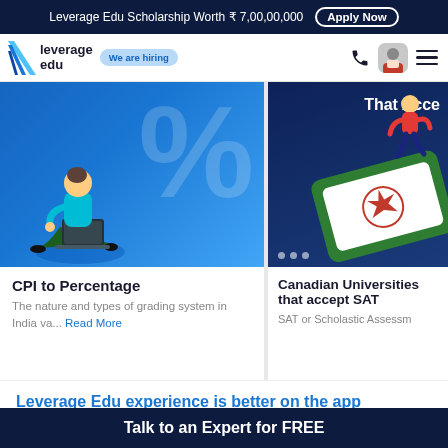Leverage Edu Scholarship Worth ₹ 7,00,00,000  Apply Now
[Figure (screenshot): Leverage Edu navigation bar with logo, 'We are hiring' badge, phone icon, avatar, and hamburger menu]
[Figure (illustration): Blue background card image with large % symbol and student sitting with laptop]
CPI to Percentage
The nature and types of grading system in India va... Read More
[Figure (illustration): Dark blue background card image with 'That Acce' text and student jumping with admission certificate]
Canadian Universities that accept SAT
SAT or Scholastic Assessm
Leverage Edu experience is better on the app
Streamline your study abroad journey from course discovery till university admissions.
Talk to an Expert for FREE